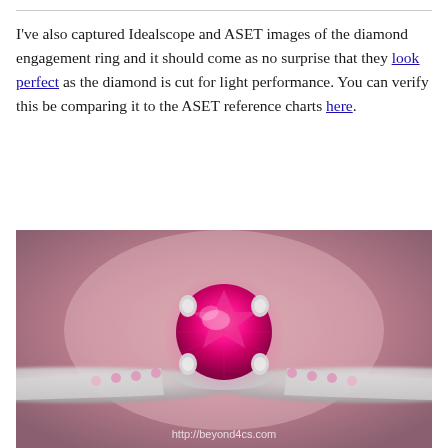I've also captured Idealscope and ASET images of the diamond engagement ring and it should come as no surprise that they look perfect as the diamond is cut for light performance. You can verify this be comparing it to the ASET reference charts here.
[Figure (photo): Close-up photo of a diamond engagement ring with a vivid pink/magenta round brilliant cut center stone set in a white metal (platinum or white gold) four-prong solitaire setting, with smaller pink stones pavé-set along the band. Background is blurred pink/mauve. Watermark reads http://beyond4cs.com]